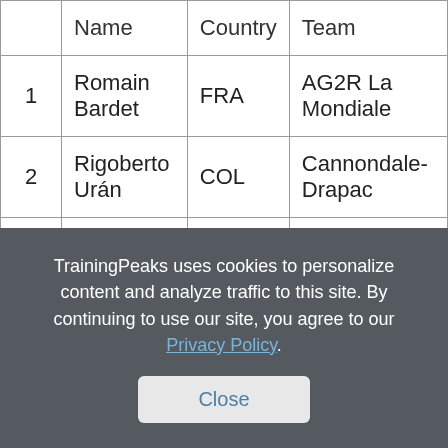|  | Name | Country | Team |
| --- | --- | --- | --- |
| 1 | Romain Bardet | FRA | AG2R La Mondiale |
| 2 | Rigoberto Urán | COL | Cannondale-Drapac |
| 3 | Fabio Aru | ITA | Astana Pro Team |
Stage 12 may end up being one of the most decisive stages of the 2017 Tour de France. The day was fast from the start, and the aggressive
TrainingPeaks uses cookies to personalize content and analyze traffic to this site. By continuing to use our site, you agree to our Privacy Policy.